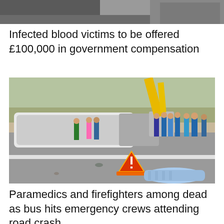[Figure (photo): Partial view of a person in a grey t-shirt, cropped at the top of the page]
Infected blood victims to be offered £100,000 in government compensation
[Figure (photo): Road accident scene showing an overturned bus on a highway, emergency responders, bystanders, a Turkish traffic accident warning triangle sign, and a body covered with a blue cloth on the road surface. A yellow crane is visible in the background.]
Paramedics and firefighters among dead as bus hits emergency crews attending road crash